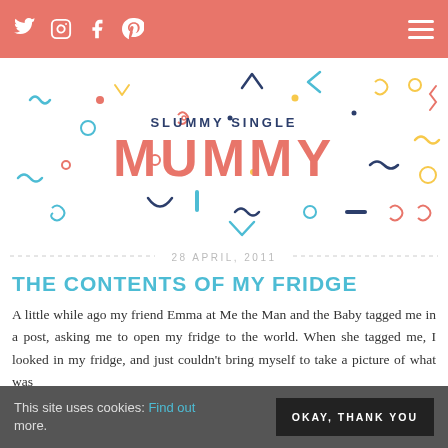Social icons: Twitter, Instagram, Facebook, Pinterest | Hamburger menu
[Figure (logo): Slummy Single Mummy blog logo with colorful decorative shapes (spirals, arrows, zigzags, dots) in teal, red, yellow, navy on white background]
28 APRIL, 2011
THE CONTENTS OF MY FRIDGE
A little while ago my friend Emma at Me the Man and the Baby tagged me in a post, asking me to open my fridge to the world. When she tagged me, I looked in my fridge, and just couldn't bring myself to take a picture of what was
This site uses cookies: Find out more.
OKAY, THANK YOU